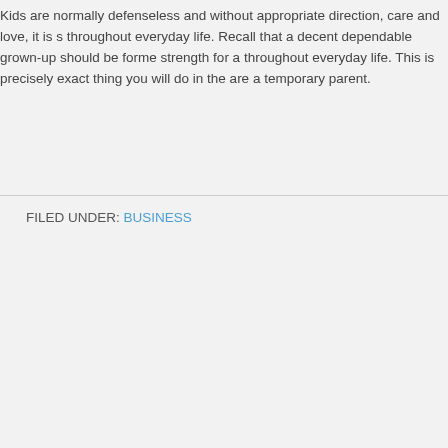Kids are normally defenseless and without appropriate direction, care and love, it is s throughout everyday life. Recall that a decent dependable grown-up should be forme strength for a throughout everyday life. This is precisely exact thing you will do in the are a temporary parent.
FILED UNDER: BUSINESS